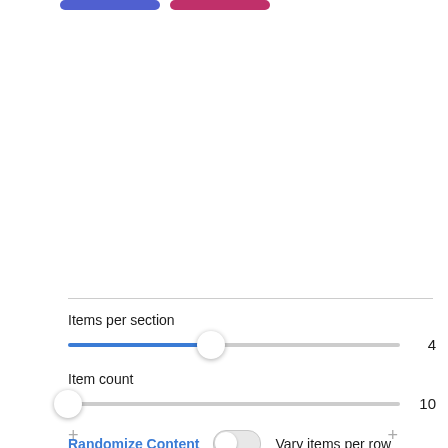[Figure (screenshot): Partial view of two colored pill-shaped buttons at top of screen (blue and pink/red)]
Items per section
[Figure (other): Horizontal slider showing value 4, thumb positioned at about 43% of track, track filled blue to thumb position]
Item count
[Figure (other): Horizontal slider showing value 10, thumb at leftmost position, track is gray]
Randomize Content
[Figure (other): Toggle switch in off (left) position]
Vary items per row